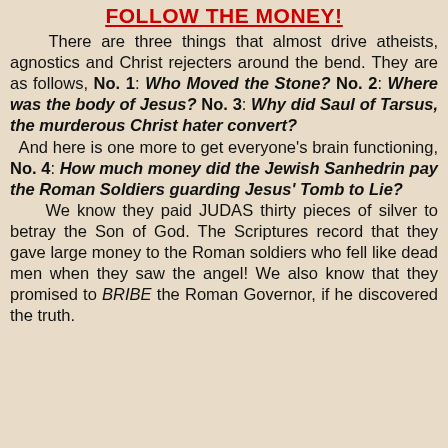FOLLOW THE MONEY!
There are three things that almost drive atheists, agnostics and Christ rejecters around the bend. They are as follows, No. 1: Who Moved the Stone? No. 2: Where was the body of Jesus? No. 3: Why did Saul of Tarsus, the murderous Christ hater convert? And here is one more to get everyone's brain functioning, No. 4: How much money did the Jewish Sanhedrin pay the Roman Soldiers guarding Jesus' Tomb to Lie? We know they paid JUDAS thirty pieces of silver to betray the Son of God. The Scriptures record that they gave large money to the Roman soldiers who fell like dead men when they saw the angel! We also know that they promised to BRIBE the Roman Governor, if he discovered the truth.